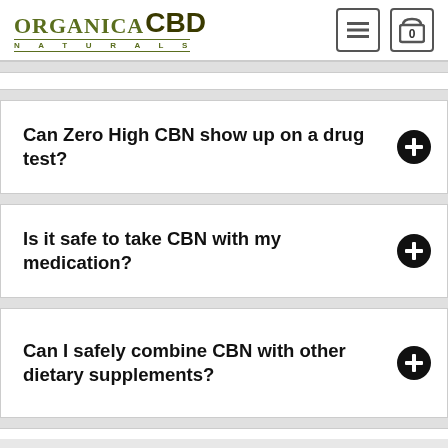[Figure (logo): Organica Naturals CBD logo with navigation icons (hamburger menu and cart showing 0)]
Can Zero High CBN show up on a drug test?
Is it safe to take CBN with my medication?
Can I safely combine CBN with other dietary supplements?